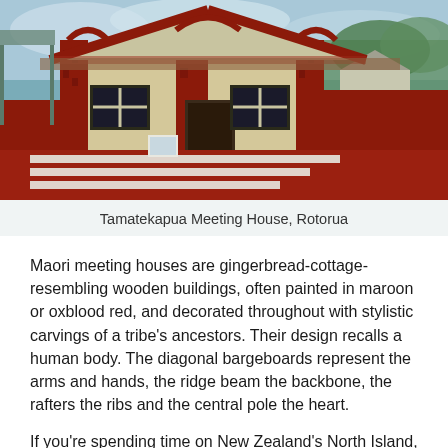[Figure (photo): Tamatekapua Meeting House in Rotorua, New Zealand. A traditional Maori meeting house with red/maroon painted wooden carvings and decorative elements on the facade, with a red courtyard/plaza in the foreground with white striped markings.]
Tamatekapua Meeting House, Rotorua
Maori meeting houses are gingerbread-cottage-resembling wooden buildings, often painted in maroon or oxblood red, and decorated throughout with stylistic carvings of a tribe's ancestors. Their design recalls a human body. The diagonal bargeboards represent the arms and hands, the ridge beam the backbone, the rafters the ribs and the central pole the heart.
If you're spending time on New Zealand's North Island, you're likely to see several of them. Non-Maori are